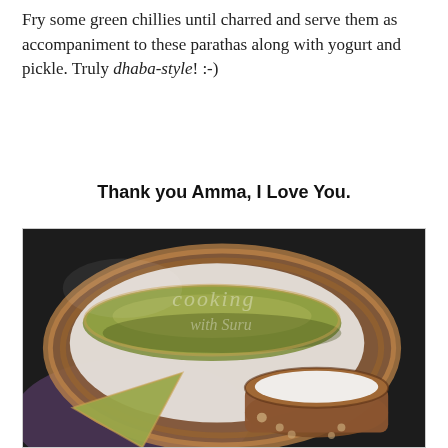Fry some green chillies until charred and serve them as accompaniment to these parathas along with yogurt and pickle. Truly dhaba-style! :-)
Thank you Amma, I Love You.
[Figure (photo): A food photograph showing green parathas served in a wicker basket lined with white cloth, with a small terracotta clay pot filled with yogurt in the foreground. The image has a watermark reading 'cooking with Suru'. The background is dark.]